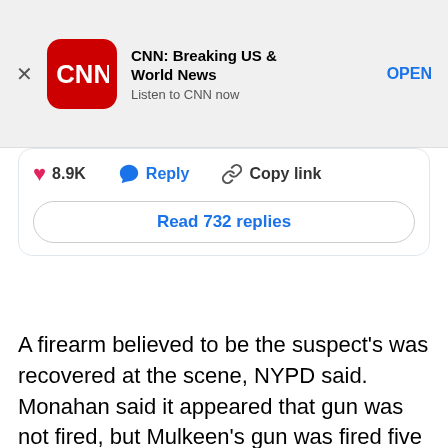[Figure (screenshot): CNN Breaking US & World News app banner advertisement with CNN logo, title, subtitle 'Listen to CNN now', and OPEN button]
[Figure (screenshot): Twitter/X tweet card showing 8.9K likes, Reply button, Copy link button, and Read 732 replies button]
A firearm believed to be the suspect’s was recovered at the scene, NYPD said. Monahan said it appeared that gun was not fired, but Mulkeen’s gun was fired five times.
“At this point, we are not sure who fired Officer Mulkeen’s gun,” he said.